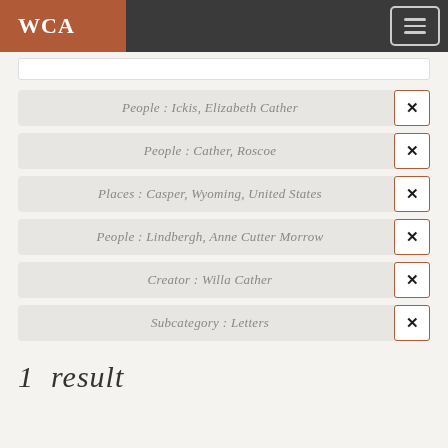WCA
People : Ickis, Elizabeth Cather
People : Cather, Roscoe
Places : Casper, Wyoming, United States
People : Lindbergh, Anne Cutter Morrow
Creator : Willa Cather
Subcategory : Letters
1 result